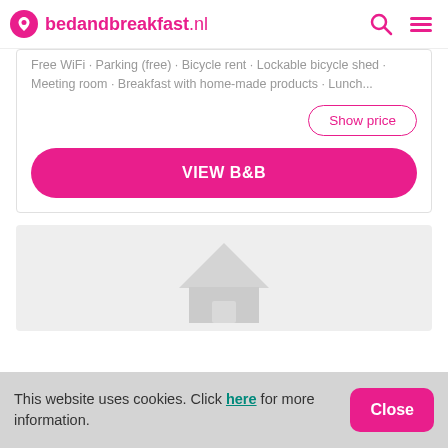bedandbreakfast.nl
Free WiFi · Parking (free) · Bicycle rent · Lockable bicycle shed · Meeting room · Breakfast with home-made products · Lunch...
Show price
VIEW B&B
[Figure (illustration): House/building icon placeholder card in light gray]
This website uses cookies. Click here for more information.
Close